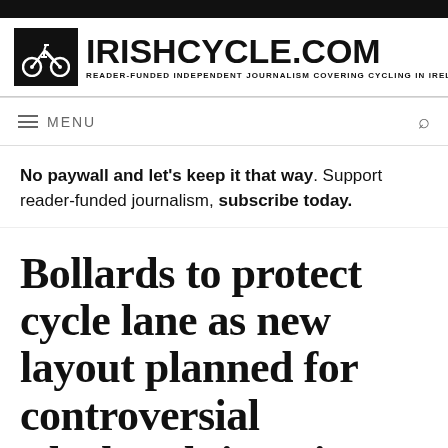IRISHCYCLE.COM — READER-FUNDED INDEPENDENT JOURNALISM COVERING CYCLING IN IRELAND
≡ MENU
No paywall and let's keep it that way. Support reader-funded journalism, subscribe today.
Bollards to protect cycle lane as new layout planned for controversial Blackrock junction